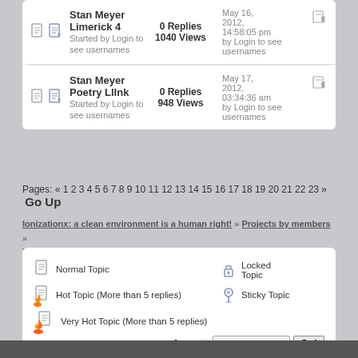Stan Meyer Limerick 4 — Started by Login to see usernames — 0 Replies, 1040 Views — May 16, 2012, 14:58:05 pm by Login to see usernames
Stan Meyer Poetry LlInk — Started by Login to see usernames — 0 Replies, 948 Views — May 17, 2012, 03:34:36 am by Login to see usernames
Pages: « 1 2 3 4 5 6 7 8 9 10 11 12 13 14 15 16 17 18 19 20 21 22 23 » Go Up
Ionizationx: a clean environment is a human right! » Projects by members » Projects by members » J. Miller (Moderator: Login to see usernames)
Normal Topic | Locked Topic | Hot Topic (More than 5 replies) | Sticky Topic | Very Hot Topic (More than 5 replies) | Jump to: ===> J. Miller Go!